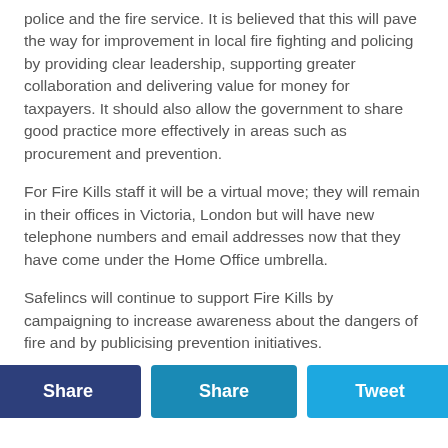police and the fire service. It is believed that this will pave the way for improvement in local fire fighting and policing by providing clear leadership, supporting greater collaboration and delivering value for money for taxpayers. It should also allow the government to share good practice more effectively in areas such as procurement and prevention.
For Fire Kills staff it will be a virtual move; they will remain in their offices in Victoria, London but will have new telephone numbers and email addresses now that they have come under the Home Office umbrella.
Safelincs will continue to support Fire Kills by campaigning to increase awareness about the dangers of fire and by publicising prevention initiatives.
[Figure (other): Three social sharing buttons: 'Share' (dark blue), 'Share' (medium blue), 'Tweet' (light blue)]